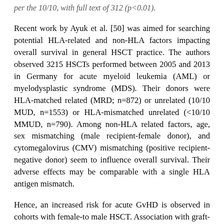per the 10/10, with full text of 312 (p<0.01).
Recent work by Ayuk et al. [50] was aimed for searching potential HLA-related and non-HLA factors impacting overall survival in general HSCT practice. The authors observed 3215 HSCTs performed between 2005 and 2013 in Germany for acute myeloid leukemia (AML) or myelodysplastic syndrome (MDS). Their donors were HLA-matched related (MRD; n=872) or unrelated (10/10 MUD, n=1553) or HLA-mismatched unrelated (<10/10 MMUD, n=790). Among non-HLA related factors, age, sex mismatching (male recipient-female donor), and cytomegalovirus (CMV) mismatching (positive recipient-negative donor) seem to influence overall survival. Their adverse effects may be comparable with a single HLA antigen mismatch.
Hence, an increased risk for acute GvHD is observed in cohorts with female-to male HSCT. Association with graft-versus-leukemia effect in these donor-recipient pairs